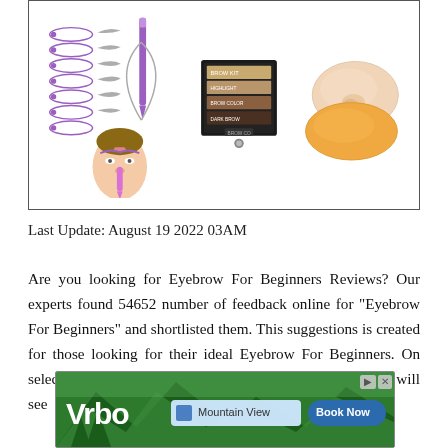[Figure (photo): Product collage showing three eyebrow-related beauty products: a stencil kit with purple eyebrow templates and a model, an eyebrow powder palette in dark packaging, and two silicone face pad shapes (one skin-toned, one orange).]
Last Update: August 19 2022 03AM
Are you looking for Eyebrow For Beginners Reviews? Our experts found 54652 number of feedback online for "Eyebrow For Beginners" and shortlisted them. This suggestions is created for those looking for their ideal Eyebrow For Beginners. On selected products for the Best Eyebrow For Beginners you will see
[Figure (screenshot): Advertisement banner for Vrbo showing logo text, a search bar with 'Mountain View' text and blue square icon, and a blue 'Book Now' button, overlaid on a green mountain/forest background.]